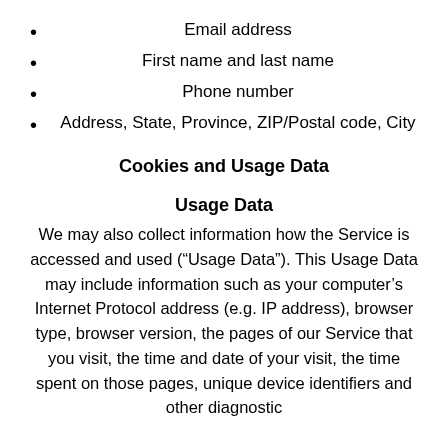Email address
First name and last name
Phone number
Address, State, Province, ZIP/Postal code, City
Cookies and Usage Data
Usage Data
We may also collect information how the Service is accessed and used (“Usage Data”). This Usage Data may include information such as your computer’s Internet Protocol address (e.g. IP address), browser type, browser version, the pages of our Service that you visit, the time and date of your visit, the time spent on those pages, unique device identifiers and other diagnostic